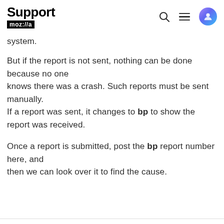Support moz://a
system.
But if the report is not sent, nothing can be done because no one knows there was a crash. Such reports must be sent manually. If a report was sent, it changes to bp to show the report was received.
Once a report is submitted, post the bp report number here, and then we can look over it to find the cause.